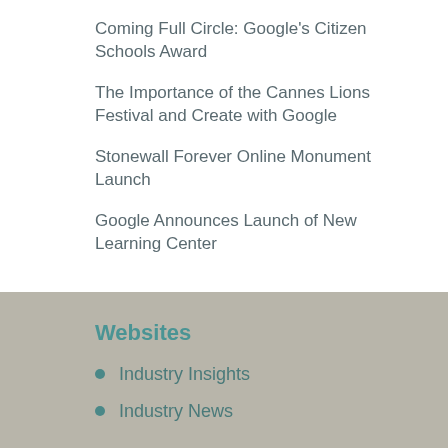Coming Full Circle: Google's Citizen Schools Award
The Importance of the Cannes Lions Festival and Create with Google
Stonewall Forever Online Monument Launch
Google Announces Launch of New Learning Center
Websites
Industry Insights
Industry News